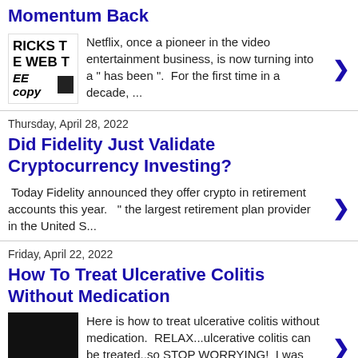Momentum Back
[Figure (screenshot): Thumbnail showing partial text: RICKS T, E WEB T, EE copy with black box]
Netflix, once a pioneer in the video entertainment business, is now turning into a " has been ".  For the first time in a decade, ...
Thursday, April 28, 2022
Did Fidelity Just Validate Cryptocurrency Investing?
Today Fidelity announced they offer crypto in retirement accounts this year.   " the largest retirement plan provider in the United S...
Friday, April 22, 2022
How To Treat Ulcerative Colitis Without Medication
[Figure (screenshot): Thumbnail with dark background showing partial text: gmail.com]
Here is how to treat ulcerative colitis without medication.  RELAX...ulcerative colitis can be treated..so STOP WORRYING!  I was right where...